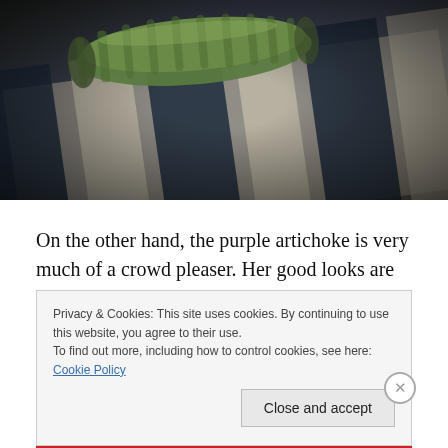[Figure (photo): Close-up photo of green artichoke stalks resting on a striped blue and beige fabric/textile background. Dark moody photography style.]
On the other hand, the purple artichoke is very much of a crowd pleaser. Her good looks are self evident, but her
Privacy & Cookies: This site uses cookies. By continuing to use this website, you agree to their use.
To find out more, including how to control cookies, see here: Cookie Policy
Close and accept